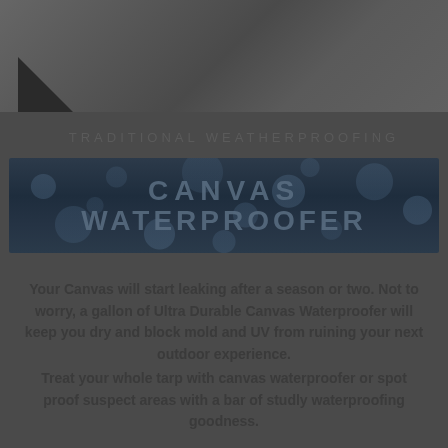[Figure (photo): Dark grayscale photo of a person or outdoor scene, partially visible at the top of the page]
TRADITIONAL WEATHERPROOFING
[Figure (illustration): Banner image with water droplets on dark blue background with bold text reading 'CANVAS WATERPROOFER']
Your Canvas will start leaking after a season or two. Not to worry, a gallon of Ultra Durable Canvas Waterproofer will keep you dry and block mold and UV from ruining your next outdoor experience.
Treat your whole tarp with canvas waterproofer or spot proof suspect areas with a bar of studly waterproofing goodness.